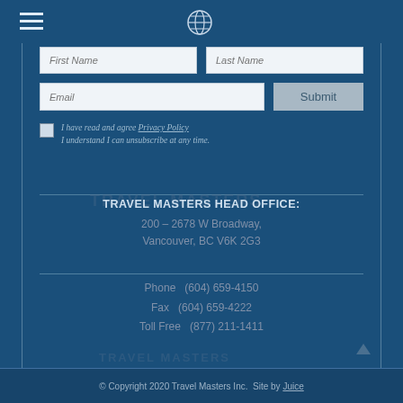Travel Masters logo and navigation hamburger menu
First Name [input field]   Last Name [input field]
Email [input field]   Submit [button]
☐ I have read and agree Privacy Policy
I understand I can unsubscribe at any time.
TRAVEL MASTERS HEAD OFFICE:
200 – 2678 W Broadway,
Vancouver, BC V6K 2G3
Phone   (604) 659-4150
Fax   (604) 659-4222
Toll Free   (877) 211-1411
© Copyright 2020 Travel Masters Inc.  Site by Juice